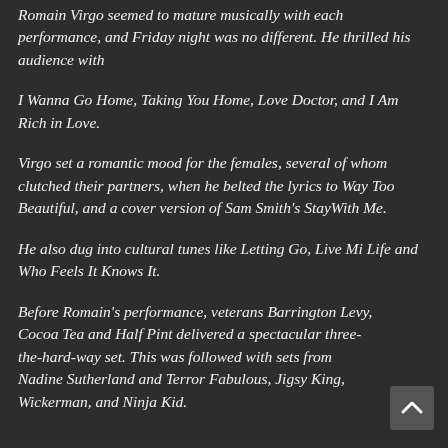Romain Virgo seemed to mature musically with each performance, and Friday night was no different. He thrilled his audience with
I Wanna Go Home, Taking You Home, Love Doctor, and I Am Rich in Love.
Virgo set a romantic mood for the females, several of whom clutched their partners, when he belted the lyrics to Way Too Beautiful, and a cover version of Sam Smith's StayWith Me.
He also dug into cultural tunes like Letting Go, Live Mi Life and Who Feels It Knows It.
Before Romain's performance, veterans Barrington Levy, Cocoa Tea and Half Pint delivered a spectacular three-the-hard-way set. This was followed with sets from Nadine Sutherland and Terror Fabulous, Jigsy King, Wickerman, and Ninja Kid.